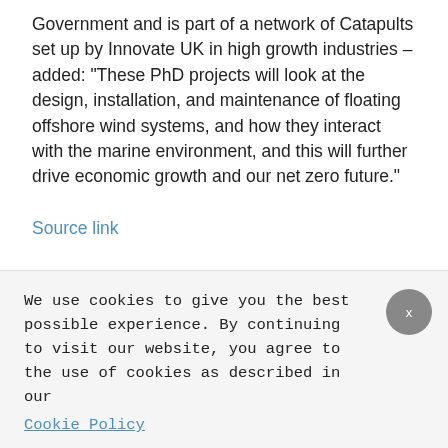Government and is part of a network of Catapults set up by Innovate UK in high growth industries – added: “These PhD projects will look at the design, installation, and maintenance of floating offshore wind systems, and how they interact with the marine environment, and this will further drive economic growth and our net zero future.”
Source link
Utility
We use cookies to give you the best possible experience. By continuing to visit our website, you agree to the use of cookies as described in our
Cookie Policy